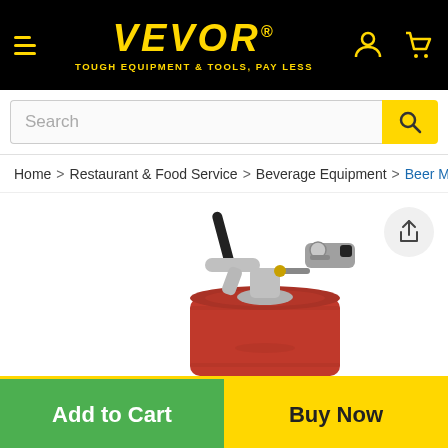VEVOR® TOUGH EQUIPMENT & TOOLS, PAY LESS
Search
Home > Restaurant & Food Service > Beverage Equipment > Beer M
[Figure (photo): A red mini keg with a stainless steel beer tap dispenser and CO2 regulator attached on top, shown on a white background.]
Add to Cart
Buy Now